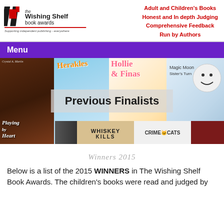[Figure (logo): The Wishing Shelf Book Awards logo with black and red graphic mark and italic text 'Supporting independent publishing - everywhere']
Adult and Children's Books
Honest and In depth Judging
Comprehensive Feedback
Run by Authors
Menu
[Figure (photo): Collage of book covers including 'Playing by Heart', 'Herakles', 'Hollie & Finas', 'Magic Moon Sister's Turn', and others, with 'Previous Finalists' overlay text and bottom strip showing 'Whiskey Kills' and 'Crime Cats']
Previous Finalists
Winners 2015
Below is a list of the 2015 WINNERS in The Wishing Shelf Book Awards. The children's books were read and judged by